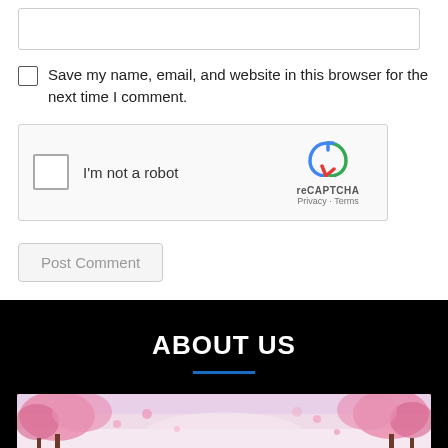[Figure (screenshot): A text input box (empty, with border)]
Save my name, email, and website in this browser for the next time I comment.
[Figure (other): reCAPTCHA widget with checkbox labeled 'I'm not a robot' and reCAPTCHA logo with Privacy and Terms links]
[Figure (screenshot): Post Comment button (grayed out)]
ABOUT US
[Figure (photo): Cherry blossom trees with pink flowers against a light sky background]